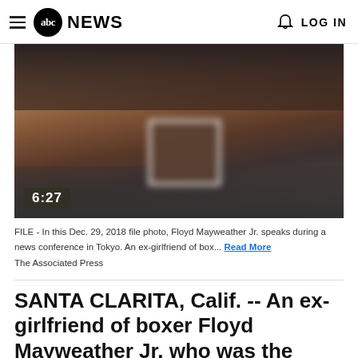abc NEWS   LOG IN
[Figure (photo): Video thumbnail showing Floyd Mayweather Jr. speaking, with a blurred box over part of his face. Timestamp 6:27 shown in lower left.]
FILE - In this Dec. 29, 2018 file photo, Floyd Mayweather Jr. speaks during a news conference in Tokyo. An ex-girlfriend of box... Read More
The Associated Press
SANTA CLARITA, Calif. -- An ex-girlfriend of boxer Floyd Mayweather Jr. who was the